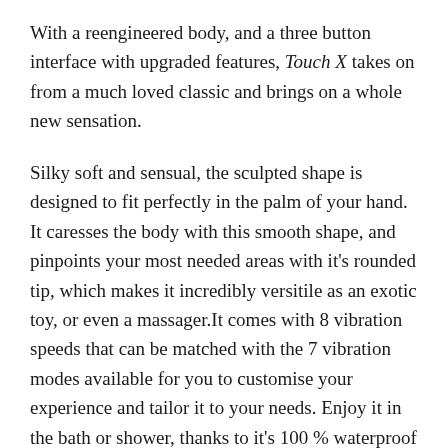With a reengineered body, and a three button interface with upgraded features, Touch X takes on from a much loved classic and brings on a whole new sensation.
Silky soft and sensual, the sculpted shape is designed to fit perfectly in the palm of your hand. It caresses the body with this smooth shape, and pinpoints your most needed areas with it's rounded tip, which makes it incredibly versitile as an exotic toy, or even a massager.It comes with 8 vibration speeds that can be matched with the 7 vibration modes available for you to customise your experience and tailor it to your needs. Enjoy it in the bath or shower, thanks to it's 100 % waterproof coating, and feel free to use it solo, or spice things up with a lover.
Product Features: